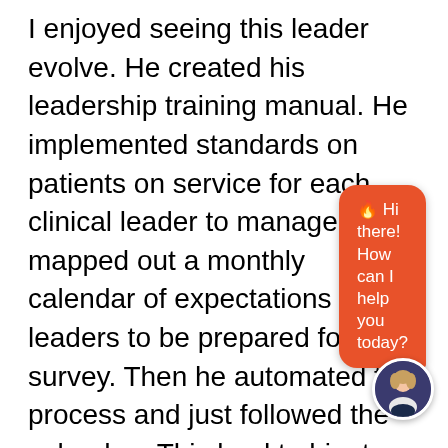I enjoyed seeing this leader evolve. He created his leadership training manual. He implemented standards on patients on service for each clinical leader to manage. He mapped out a monthly calendar of expectations for the leaders to be prepared for the survey. Then he automated the process and just followed the calendar.  This lead to him to open new companies the same year!  Both Medicare-certified home health and Ho[spice]!

When he need[ed help, he]p[revented]...
what he had...didn't just have effic...
[Figure (other): Orange chat bubble overlay with flame emoji and text 'Hi there! How can I help you today?' with a circular avatar of a woman in the bottom right corner.]